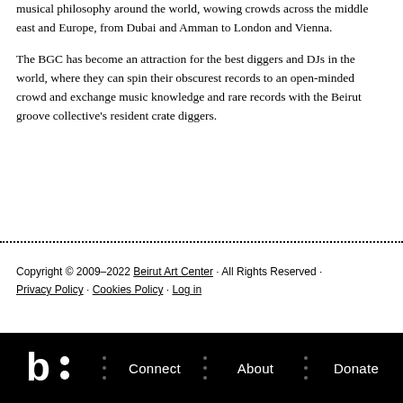musical philosophy around the world, wowing crowds across the middle east and Europe, from Dubai and Amman to London and Vienna.
The BGC has become an attraction for the best diggers and DJs in the world, where they can spin their obscurest records to an open-minded crowd and exchange music knowledge and rare records with the Beirut groove collective's resident crate diggers.
Copyright © 2009–2022 Beirut Art Center · All Rights Reserved · Privacy Policy · Cookies Policy · Log in